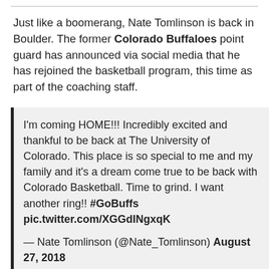Just like a boomerang, Nate Tomlinson is back in Boulder. The former Colorado Buffaloes point guard has announced via social media that he has rejoined the basketball program, this time as part of the coaching staff.
I'm coming HOME!!! Incredibly excited and thankful to be back at The University of Colorado. This place is so special to me and my family and it's a dream come true to be back with Colorado Basketball. Time to grind. I want another ring!! #GoBuffs pic.twitter.com/XGGdINgxqK

— Nate Tomlinson (@Nate_Tomlinson) August 27, 2018